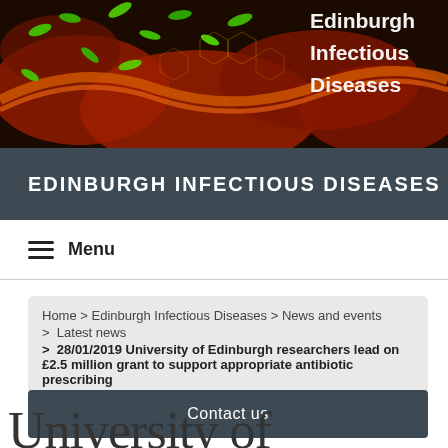[Figure (photo): Microscopy image showing green bacteria on a dark red background with orange cell-like structures, used as a header banner for Edinburgh Infectious Diseases]
Edinburgh Infectious Diseases
EDINBURGH INFECTIOUS DISEASES
Menu
Home > Edinburgh Infectious Diseases > News and events > Latest news > 28/01/2019 University of Edinburgh researchers lead on £2.5 million grant to support appropriate antibiotic prescribing
Contact us
University of Edinburgh